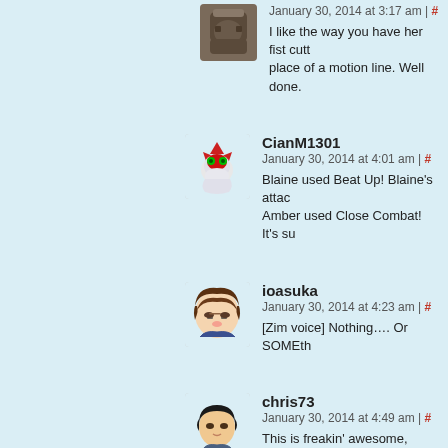[Figure (illustration): Avatar of first commenter - armored character]
January 30, 2014 at 3:17 am | #
I like the way you have her fist cutting place of a motion line. Well done.
[Figure (illustration): Avatar of CianM1301 - red robotic bird/dragon character]
CianM1301
January 30, 2014 at 4:01 am | #
Blaine used Beat Up! Blaine's attac Amber used Close Combat! It's su
[Figure (illustration): Avatar of ioasuka - anime girl with brown hair and glasses]
ioasuka
January 30, 2014 at 4:23 am | #
[Zim voice] Nothing…. Or SOMEth
[Figure (illustration): Avatar of chris73 - anime boy with dark hair]
chris73
January 30, 2014 at 4:49 am | #
This is freakin' awesome, sometim-
Kim